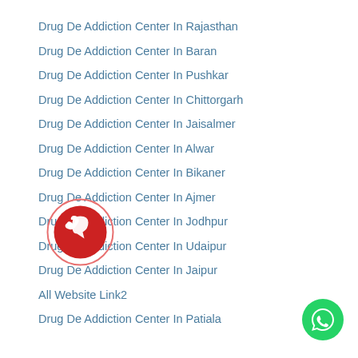Drug De Addiction Center In Rajasthan
Drug De Addiction Center In Baran
Drug De Addiction Center In Pushkar
Drug De Addiction Center In Chittorgarh
Drug De Addiction Center In Jaisalmer
Drug De Addiction Center In Alwar
Drug De Addiction Center In Bikaner
Drug De Addiction Center In Ajmer
Drug De Addiction Center In Jodhpur
Drug De Addiction Center In Udaipur
Drug De Addiction Center In Jaipur
All Website Link2
Drug De Addiction Center In Patiala
[Figure (logo): Red circular phone/chat bubble icon overlay]
[Figure (logo): Green WhatsApp circular button at bottom right]